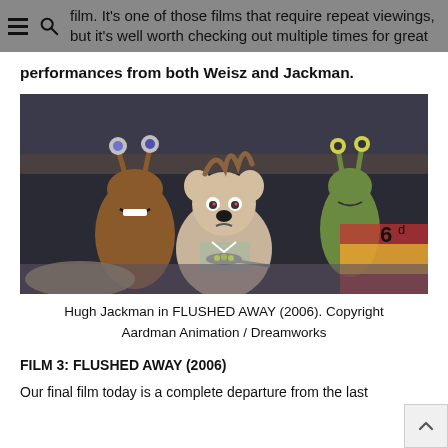film. It's one of those films that require repeat viewings, but it's well worth checking out multiple times for great
performances from both Weisz and Jackman.
[Figure (photo): Animated characters from Flushed Away (2006): a mouse-like character in the center holding a spoon, flanked by slug-like alien creatures, in a dark underground setting.]
Hugh Jackman in FLUSHED AWAY (2006). Copyright Aardman Animation / Dreamworks
FILM 3: FLUSHED AWAY (2006)
Our final film today is a complete departure from the last